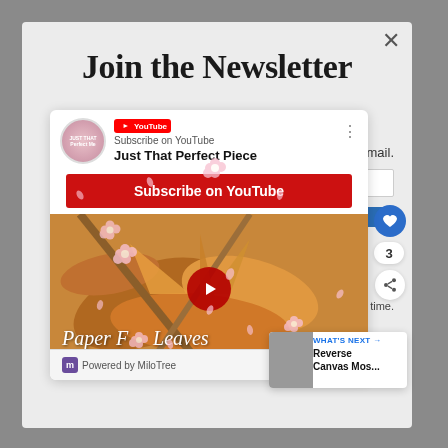Join the Newsletter
[Figure (screenshot): YouTube subscription popup widget for 'Just That Perfect Piece' channel with a Subscribe on YouTube red button and a Paper Fall Leaves video thumbnail with play button, overlaid with pink flower decorations]
by email.
3
r time.
WHAT'S NEXT → Reverse Canvas Mos...
Powered by MiloTree
X CLOSE